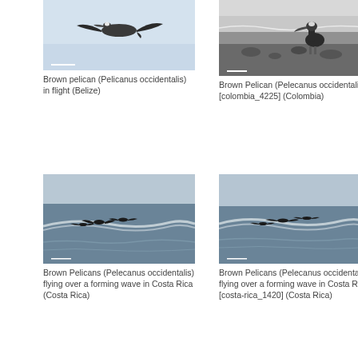[Figure (photo): Brown pelican in flight against a light blue sky (Belize)]
Brown pelican (Pelicanus occidentalis) in flight (Belize)
[Figure (photo): Brown Pelican standing on a rocky beach with waves in background (Colombia)]
Brown Pelican (Pelecanus occidentalis) [colombia_4225] (Colombia)
[Figure (photo): Brown Pelicans flying over a forming wave in Costa Rica]
Brown Pelicans (Pelecanus occidentalis) flying over a forming wave in Costa Rica (Costa Rica)
[Figure (photo): Brown Pelicans flying over a forming wave in Costa Rica [costa-rica_1420]]
Brown Pelicans (Pelecanus occidentalis) flying over a forming wave in Costa Rica [costa-rica_1420] (Costa Rica)